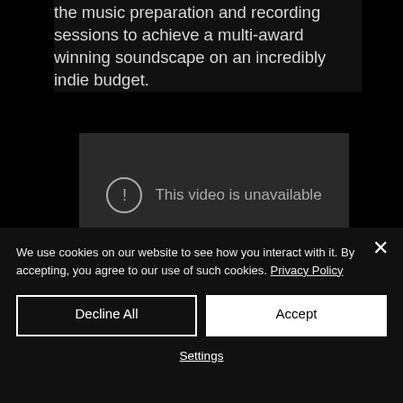the music preparation and recording sessions to achieve a multi-award winning soundscape on an incredibly indie budget.
[Figure (screenshot): Embedded video player showing 'This video is unavailable' message with a circle exclamation icon on a dark gray background.]
We use cookies on our website to see how you interact with it. By accepting, you agree to our use of such cookies. Privacy Policy
Decline All
Accept
Settings